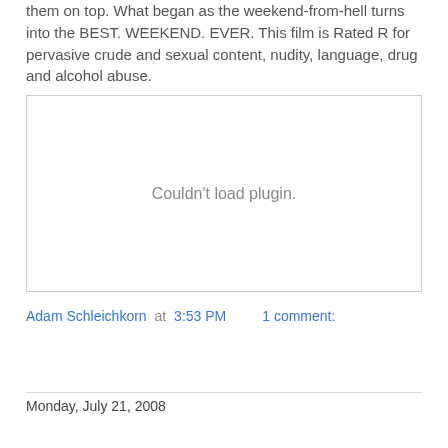them on top. What began as the weekend-from-hell turns into the BEST. WEEKEND. EVER. This film is Rated R for pervasive crude and sexual content, nudity, language, drug and alcohol abuse.
[Figure (other): Couldn't load plugin. — placeholder for an embedded media plugin that failed to load]
Adam Schleichkorn at 3:53 PM    1 comment:
Share
Monday, July 21, 2008